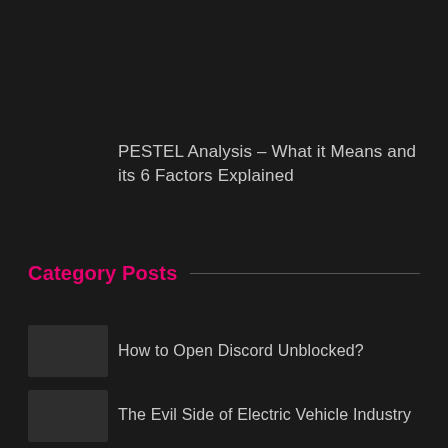PESTEL Analysis – What it Means and its 6 Factors Explained
Category Posts
How to Open Discord Unblocked?
The Evil Side of Electric Vehicle Industry